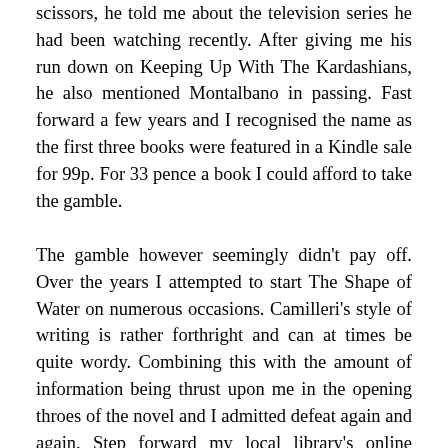scissors, he told me about the television series he had been watching recently. After giving me his run down on Keeping Up With The Kardashians, he also mentioned Montalbano in passing. Fast forward a few years and I recognised the name as the first three books were featured in a Kindle sale for 99p. For 33 pence a book I could afford to take the gamble.
The gamble however seemingly didn't pay off. Over the years I attempted to start The Shape of Water on numerous occasions. Camilleri's style of writing is rather forthright and can at times be quite wordy. Combining this with the amount of information being thrust upon me in the opening throes of the novel and I admitted defeat again and again. Step forward my local library's online audiobook service. Together we managed to crack the case, listening to the first chapter